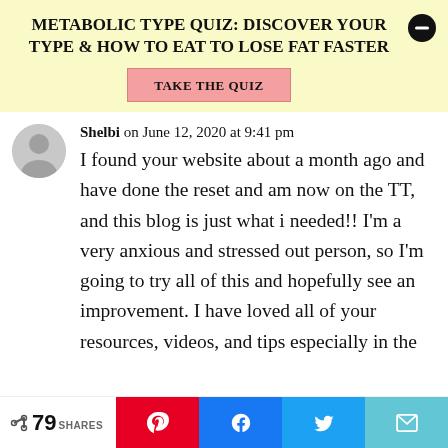METABOLIC TYPE QUIZ: DISCOVER YOUR TYPE & HOW TO EAT TO LOSE FAT FASTER
TAKE THE QUIZ
Shelbi on June 12, 2020 at 9:41 pm
I found your website about a month ago and have done the reset and am now on the TT, and this blog is just what i needed!! I'm a very anxious and stressed out person, so I'm going to try all of this and hopefully see an improvement. I have loved all of your resources, videos, and tips especially in the
< 79 SHARES [Pinterest] [Facebook] [Twitter] [Email]